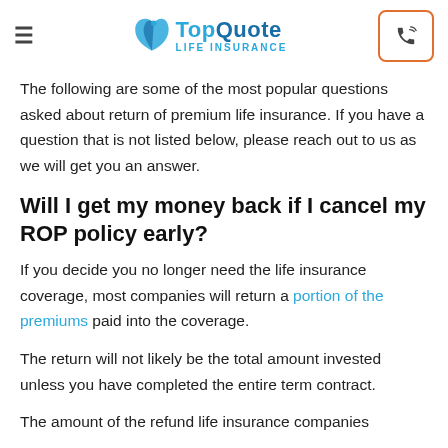TopQuote LIFE INSURANCE
The following are some of the most popular questions asked about return of premium life insurance. If you have a question that is not listed below, please reach out to us as we will get you an answer.
Will I get my money back if I cancel my ROP policy early?
If you decide you no longer need the life insurance coverage, most companies will return a portion of the premiums paid into the coverage.
The return will not likely be the total amount invested unless you have completed the entire term contract.
The amount of the refund life insurance companies...